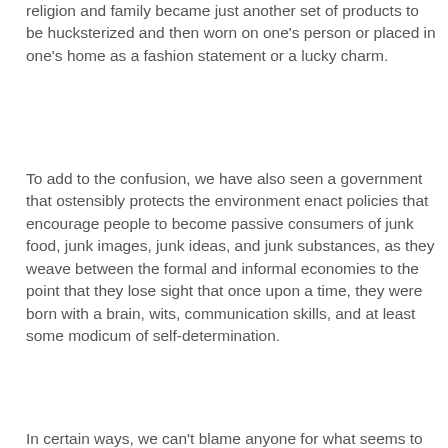religion and family became just another set of products to be hucksterized and then worn on one's person or placed in one's home as a fashion statement or a lucky charm.
To add to the confusion, we have also seen a government that ostensibly protects the environment enact policies that encourage people to become passive consumers of junk food, junk images, junk ideas, and junk substances, as they weave between the formal and informal economies to the point that they lose sight that once upon a time, they were born with a brain, wits, communication skills, and at least some modicum of self-determination.
In certain ways, we can't blame anyone for what seems to be a shocking level of blindness and unwillingness to examine their own lives. After all, extreme social inequality is one of the first fruits of all three industrial revolutions, for all the promises made that technology will result in a level playing field and equal participation.
With accelerated communication technologies, computers, and the Internet, the Third Industrial Revolution has exerted